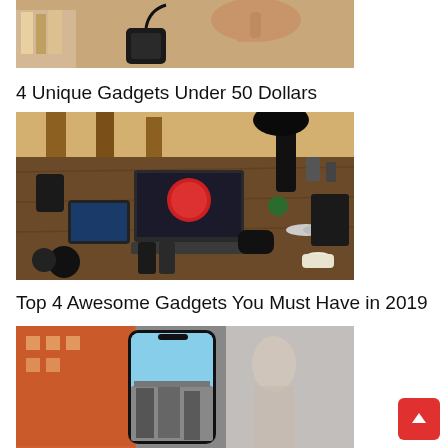[Figure (photo): A black portable charger device on a wooden surface with a hand plugging in a cable, books visible in background]
4 Unique Gadgets Under 50 Dollars
[Figure (photo): A desk with laptop, tablet, smartphones, speaker, desk lamp, and various tech gadgets arranged on a dark wood surface]
Top 4 Awesome Gadgets You Must Have in 2019
[Figure (photo): A smartphone displaying a city street photo, with a blurred person in background]